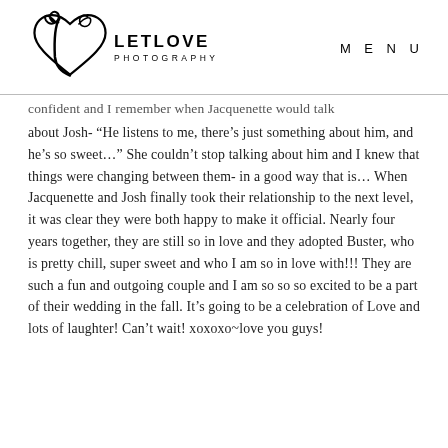[Figure (logo): LetLove Photography logo with decorative heart/swirl script mark and text 'LETLOVE PHOTOGRAPHY']
MENU
confident and I remember when Jacquenette would talk about Josh- “He listens to me, there’s just something about him, and he’s so sweet…”  She couldn’t stop talking about him and I knew that things were changing between them- in a good way that is…  When Jacquenette and Josh finally took their relationship to the next level, it was clear they were both happy to make it official.  Nearly four years together, they are still so in love and they adopted Buster, who is pretty chill, super sweet and who I am so in love with!!!  They are such a fun and outgoing couple and  I am so so so excited to be a part of their wedding in the fall.  It’s going to be a celebration of Love and lots of laughter!  Can’t wait! xoxoxo~love you guys!